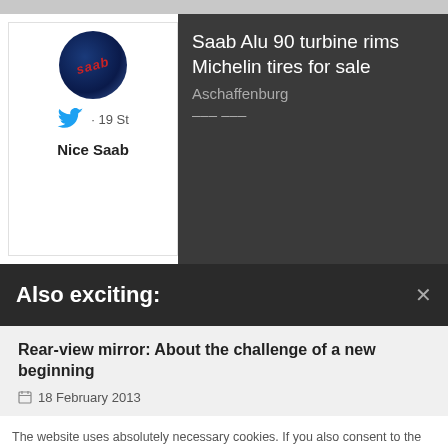[Figure (screenshot): Top section showing a Saab avatar/logo card on the left with a Twitter bird icon and '19 St' text, labeled 'Nice Saab', alongside a dark panel listing 'Saab Alu 90 turbine rims Michelin tires for sale' in Aschaffenburg]
Also exciting:
Rear-view mirror: About the challenge of a new beginning
18 February 2013
The website uses absolutely necessary cookies. If you also consent to the use of performance and targeting cookies, please click on "I agree". By clicking on "Cookie Settings" you can change the cookie setting at any time and revoke your consent.
Cookie settings
Agreed